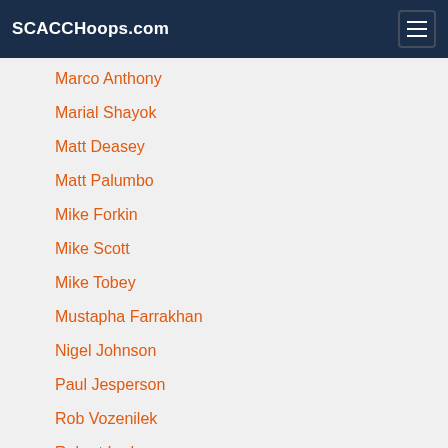SCACCHoops.com
Marco Anthony
Marial Shayok
Matt Deasey
Matt Palumbo
Mike Forkin
Mike Scott
Mike Tobey
Mustapha Farrakhan
Nigel Johnson
Paul Jesperson
Rob Vozenilek
Robert Lodge